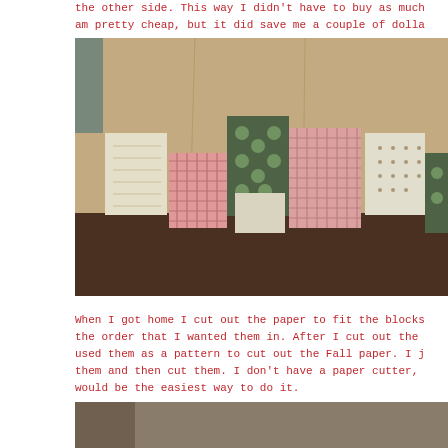the other side. This way I didn't have to buy as much am pretty cheap, but it did save me a couple of dolla
[Figure (photo): Photo of fabric squares arranged on brown paper on a table. Fabric pieces include pink, green, white floral and dotted patterns laid out in a row.]
When I got home I cut out the paper to fit the blocks the order that I wanted them in. After I cut out the used them as a pattern to cut out the Fall paper. I j them and then cut them. I don't have a paper cutter, would be the easiest way to do it.
[Figure (photo): Partial photo visible at the bottom of the page, appears to show a crafting or scrapbooking activity.]